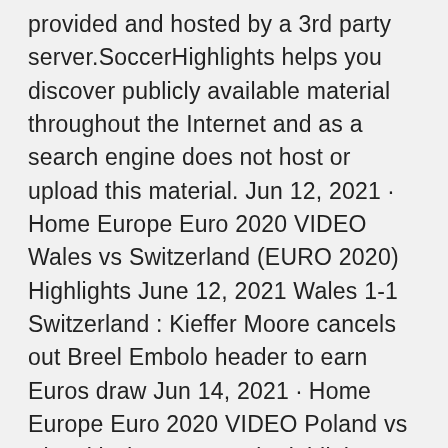provided and hosted by a 3rd party server.SoccerHighlights helps you discover publicly available material throughout the Internet and as a search engine does not host or upload this material. Jun 12, 2021 · Home Europe Euro 2020 VIDEO Wales vs Switzerland (EURO 2020) Highlights June 12, 2021 Wales 1-1 Switzerland : Kieffer Moore cancels out Breel Embolo header to earn Euros draw Jun 14, 2021 · Home Europe Euro 2020 VIDEO Poland vs Slovakia (EURO 2020) Highlights June 14, 2021 Poland 1-2 Slovakia: Skriniar scores as Slovakia secure 3 pts in Group E opener Jun 14, 2021 · Home Europe Euro 2020 VIDEO Scotland vs Czech Republic (EURO 2020) Highlights June 14, 2021 SCOTLAND 0-2 CZECH REPUBLIC : PATRIK SCHICK DOUBLE SEALS OPENING MATCH WIN AGAINST BATTLING SCOTS Jun 15, 2021 · Julien Laurens: Ah the Germans, our fiercest rivals!